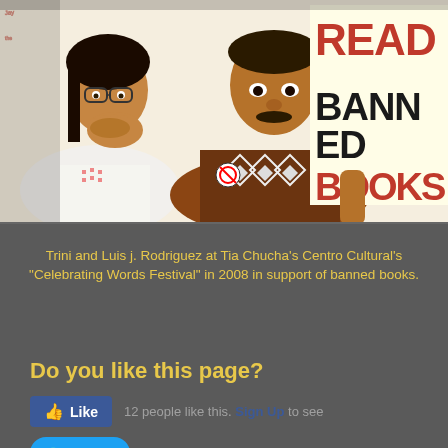[Figure (photo): Two people standing in front of a white wall covered in handwritten text. A woman on the left with glasses has her hand over her mouth in surprise. A man in the center-right wears a brown argyle vest and holds a sign reading 'READ BANNED BOOKS!' in large black and red letters.]
Trini and Luis j. Rodriguez at Tia Chucha's Centro Cultural's "Celebrating Words Festival" in 2008 in support of banned books.
Do you like this page?
12 people like this. Sign Up to see what your friends like.
Tweet